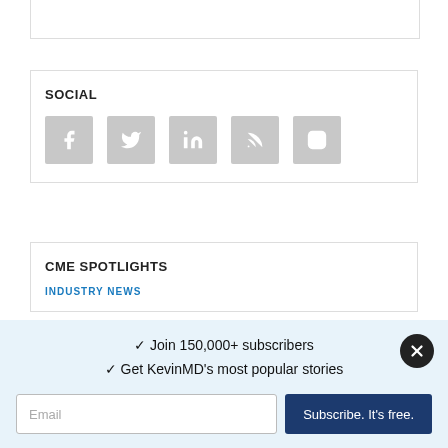SOCIAL
[Figure (illustration): Social media icons: Facebook, Twitter, LinkedIn, RSS, Instagram — displayed as grey square icon buttons]
CME SPOTLIGHTS
INDUSTRY NEWS
✓ Join 150,000+ subscribers
✓ Get KevinMD's most popular stories
Email  Subscribe. It's free.